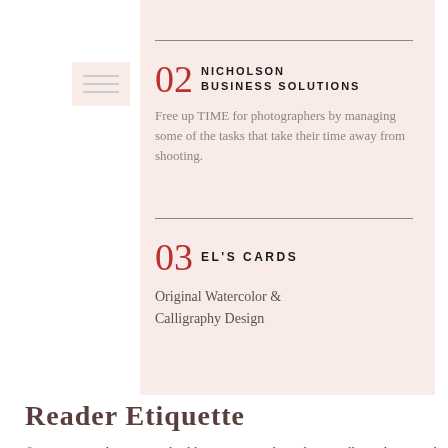02 NICHOLSON BUSINESS SOLUTIONS
Free up TIME for photographers by managing some of the tasks that take their time away from shooting.
03 EL'S CARDS
Original Watercolor & Calligraphy Design
Reader Etiquette
© - Content and images in this blog are copyright Melissa Mullen unless stated otherwise. Feel free to repost or share images for non-commercial